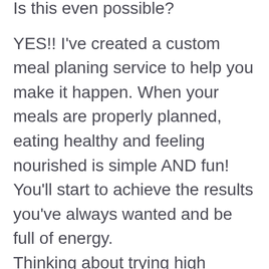Is this even possible? YES!! I've created a custom meal planing service to help you make it happen. When your meals are properly planned, eating healthy and feeling nourished is simple AND fun! You'll start to achieve the results you've always wanted and be full of energy. Thinking about trying high fat/low carb (keto), paleo, whole 30, postpartum mom needing nutrition support….or just want plans that will help you and your